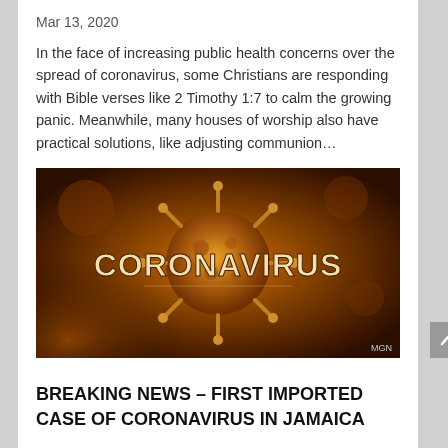Mar 13, 2020
In the face of increasing public health concerns over the spread of coronavirus, some Christians are responding with Bible verses like 2 Timothy 1:7 to calm the growing panic. Meanwhile, many houses of worship also have practical solutions, like adjusting communion…
[Figure (photo): Dark dramatic photo of a coronavirus particle rendered in gold/orange tones with the word CORONAVIRUS in large bold text overlaid. MGN watermark in bottom right.]
BREAKING NEWS – FIRST IMPORTED CASE OF CORONAVIRUS IN JAMAICA